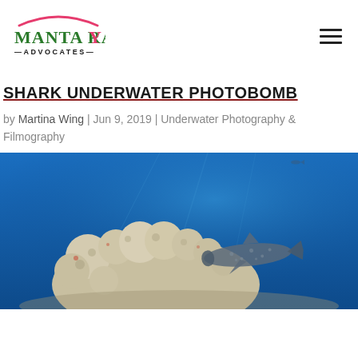[Figure (logo): Manta Ray Advocates logo with pink arc above green text 'MANTA RAY' and black 'ADVOCATES' below]
SHARK UNDERWATER PHOTOBOMB
by Martina Wing | Jun 9, 2019 | Underwater Photography & Filmography
[Figure (photo): Underwater photograph showing coral/sea sponge in foreground on left, blue ocean water background, and a shark (whale shark) visible in the right mid-distance]